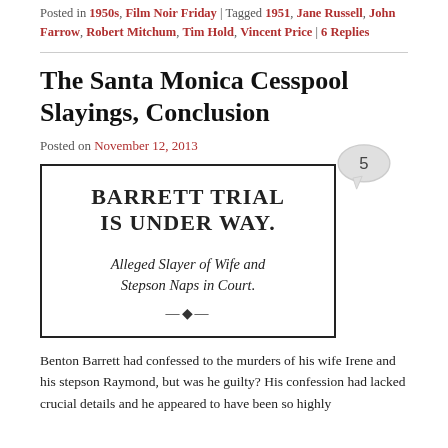Posted in 1950s, Film Noir Friday | Tagged 1951, Jane Russell, John Farrow, Robert Mitchum, Tim Hold, Vincent Price | 6 Replies
The Santa Monica Cesspool Slayings, Conclusion
Posted on November 12, 2013
[Figure (photo): Newspaper clipping with headline 'BARRETT TRIAL IS UNDER WAY.' and subheadline 'Alleged Slayer of Wife and Stepson Naps in Court.' with ornamental divider.]
Benton Barrett had confessed to the murders of his wife Irene and his stepson Raymond, but was he guilty? His confession had lacked crucial details and he appeared to have been so highly